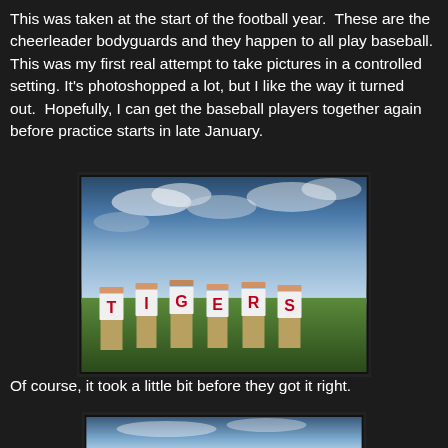This was taken at the start of the football year.  These are the cheerleader bodyguards and they happen to all play baseball.  This was my first real attempt to take pictures in a controlled setting. It's photoshopped a lot, but I like the way it turned out.  Hopefully, I can get the baseball players together again before practice starts in late January.
[Figure (photo): Six young men standing in a line on a grass field under a dramatic cloudy sky, each wearing a white t-shirt with a letter spelling out TIGERS in red.]
Of course, it took a little bit before they got it right.
[Figure (photo): Partial view of a second photo showing a sky background, presumably a bloopers or outtake shot of the same group.]